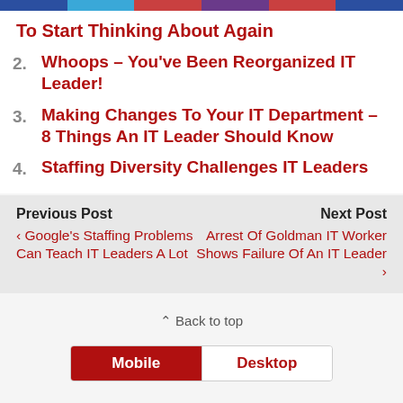To Start Thinking About Again
2. Whoops – You've Been Reorganized IT Leader!
3. Making Changes To Your IT Department – 8 Things An IT Leader Should Know
4. Staffing Diversity Challenges IT Leaders
Previous Post
Google's Staffing Problems Can Teach IT Leaders A Lot
Next Post
Arrest Of Goldman IT Worker Shows Failure Of An IT Leader
Back to top
Mobile   Desktop